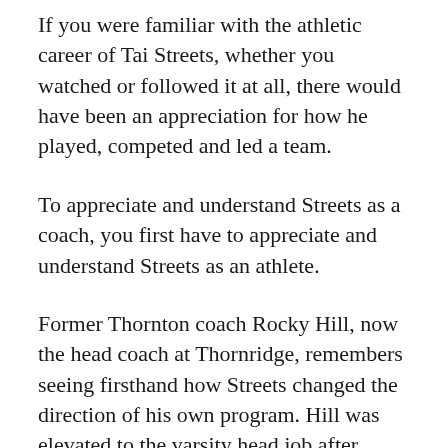If you were familiar with the athletic career of Tai Streets, whether you watched or followed it at all, there would have been an appreciation for how he played, competed and led a team.
To appreciate and understand Streets as a coach, you first have to appreciate and understand Streets as an athlete.
Former Thornton coach Rocky Hill, now the head coach at Thornridge, remembers seeing firsthand how Streets changed the direction of his own program. Hill was elevated to the varsity head job after leading the sophomore group the year before to a 25-0 record.
Already a south suburban star in the mid-1990s, Streets